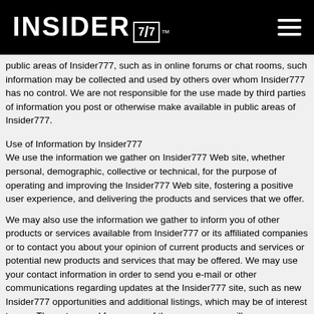INSIDER 7/7™
public areas of Insider777, such as in online forums or chat rooms, such information may be collected and used by others over whom Insider777 has no control. We are not responsible for the use made by third parties of information you post or otherwise make available in public areas of Insider777.
Use of Information by Insider777
We use the information we gather on Insider777 Web site, whether personal, demographic, collective or technical, for the purpose of operating and improving the Insider777 Web site, fostering a positive user experience, and delivering the products and services that we offer.
We may also use the information we gather to inform you of other products or services available from Insider777 or its affiliated companies or to contact you about your opinion of current products and services or potential new products and services that may be offered. We may use your contact information in order to send you e-mail or other communications regarding updates at the Insider777 site, such as new Insider777 opportunities and additional listings, which may be of interest to you. The nature and frequency of these messages will vary depending upon the information we have about you. In addition, at the time of registration for Insider777, you have the option to elect to receive additional communications, information and promotions including,